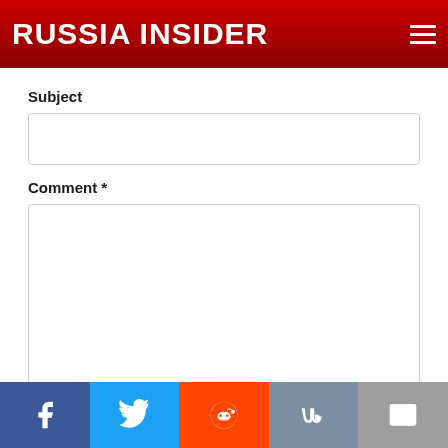RUSSIA INSIDER
Subject
Comment *
More information about text formats
Save
Preview